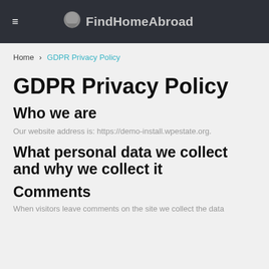FindHomeAbroad
Home › GDPR Privacy Policy
GDPR Privacy Policy
Who we are
Our website address is: https://demo-install.wpestate.org.
What personal data we collect and why we collect it
Comments
When visitors leave comments on the site we collect the data